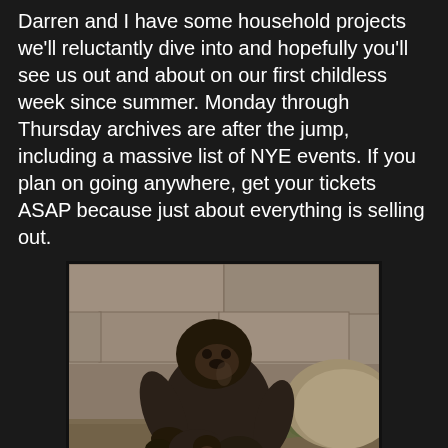Darren and I have some household projects we'll reluctantly dive into and hopefully you'll see us out and about on our first childless week since summer. Monday through Thursday archives are after the jump, including a massive list of NYE events. If you plan on going anywhere, get your tickets ASAP because just about everything is selling out.
[Figure (photo): A large gorilla sitting hunched with a baby gorilla in front of it, in a zoo enclosure with stone walls and green grass in the background.]
Rosemary Bystrak at Monday, December 26, 2016
No comments:
Share